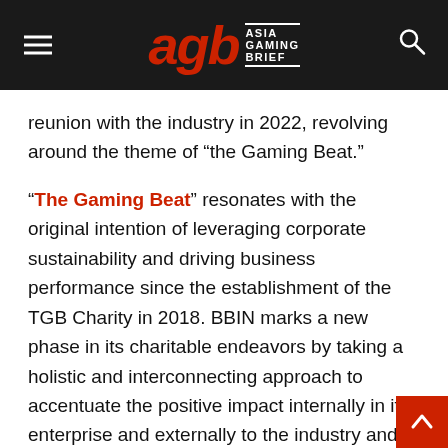AGB Asia Gaming Brief
reunion with the industry in 2022, revolving around the theme of “the Gaming Beat.”
“The Gaming Beat” resonates with the original intention of leveraging corporate sustainability and driving business performance since the establishment of the TGB Charity in 2018. BBIN marks a new phase in its charitable endeavors by taking a holistic and interconnecting approach to accentuate the positive impact internally in its enterprise and externally to the industry and the iGaming ecosystem.
In practice, we are noticing the Covid19 challenge has accelerated technological innovations and developments. As BBIN constantly adapts to the world situation and pours investment into frontier technologies, BBIN also highlights